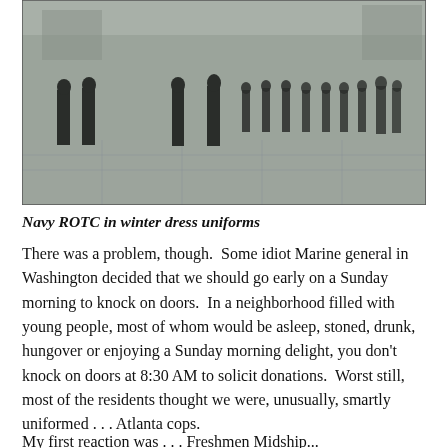[Figure (photo): Navy ROTC cadets in winter dress uniforms standing at attention in an outdoor courtyard or plaza, with a stone building in the background. Multiple cadets are visible in rows, wearing dark navy uniforms.]
Navy ROTC in winter dress uniforms
There was a problem, though.  Some idiot Marine general in Washington decided that we should go early on a Sunday morning to knock on doors.  In a neighborhood filled with young people, most of whom would be asleep, stoned, drunk, hungover or enjoying a Sunday morning delight, you don't knock on doors at 8:30 AM to solicit donations.  Worst still,  most of the residents thought we were, unusually, smartly uniformed . . . Atlanta cops.
My first reaction was . . . Freshmen Midship...